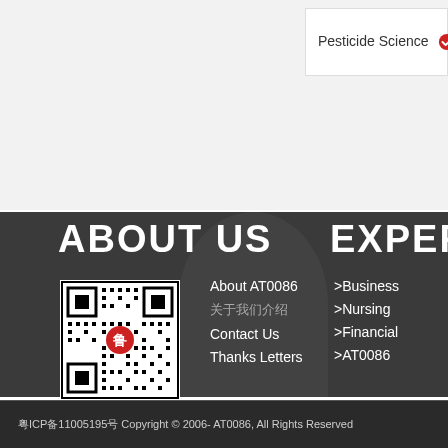Pesticide Science
ABOUT US
EXPER
[Figure (other): QR code with red logo in center for AT0086 website]
About AT0086
关于我们介绍
Contact Us
Thanks Letters
>Business
>Nursing
>Financial
>AT0086
粤ICP备11005195号 Copyright © 2006- AT0086, All Rights Reserved